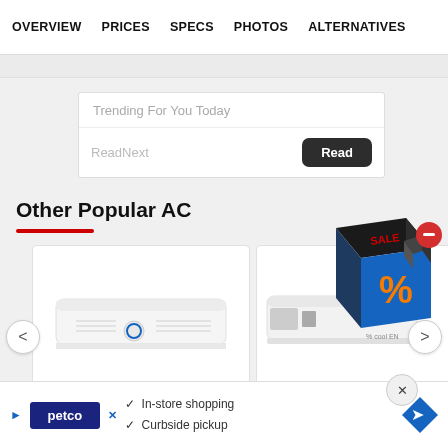OVERVIEW  PRICES  SPECS  PHOTOS  ALTERNATIVES
Trending For You Today
ReadNext
Other Popular AC
[Figure (photo): White split air conditioner unit (Carrier brand) shown in a product card]
[Figure (photo): Second AC product card partially visible with a 3D promotional box overlay showing sale percentage icon and red minus badge]
[Figure (advertisement): Petco advertisement banner with checkmarks for In-store shopping and Curbside pickup, with a map direction icon]